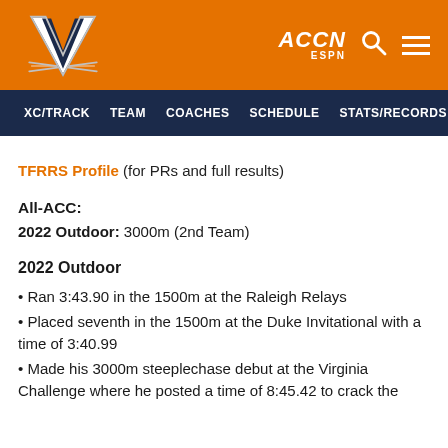[Figure (logo): University of Virginia athletics header with orange background, UVA Cavaliers logo on left, ACCN ESPN logo, search icon, and hamburger menu on right]
XC/TRACK   TEAM   COACHES   SCHEDULE   STATS/RECORDS (P
TFRRS Profile (for PRs and full results)
All-ACC:
2022 Outdoor: 3000m (2nd Team)
2022 Outdoor
Ran 3:43.90 in the 1500m at the Raleigh Relays
Placed seventh in the 1500m at the Duke Invitational with a time of 3:40.99
Made his 3000m steeplechase debut at the Virginia Challenge where he posted a time of 8:45.42 to crack the